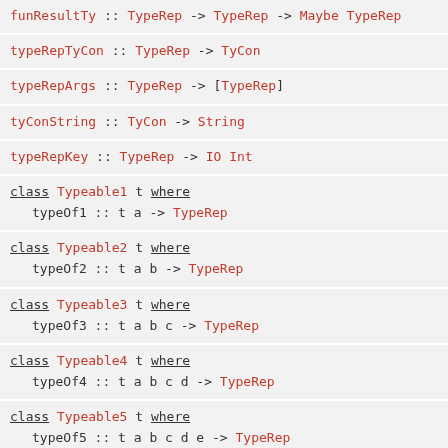funResultTy :: TypeRep -> TypeRep -> Maybe TypeRep
typeRepTyCon :: TypeRep -> TyCon
typeRepArgs :: TypeRep -> [TypeRep]
tyConString :: TyCon -> String
typeRepKey :: TypeRep -> IO Int
class Typeable1 t where
  typeOf1 :: t a -> TypeRep
class Typeable2 t where
  typeOf2 :: t a b -> TypeRep
class Typeable3 t where
  typeOf3 :: t a b c -> TypeRep
class Typeable4 t where
  typeOf4 :: t a b c d -> TypeRep
class Typeable5 t where
  typeOf5 :: t a b c d e -> TypeRep
class Typeable6 t where
  typeOf6 :: t a b c d e f -> TypeRep
class Typeable7 t where
  typeOf7 :: t a b c d e f g -> TypeRep